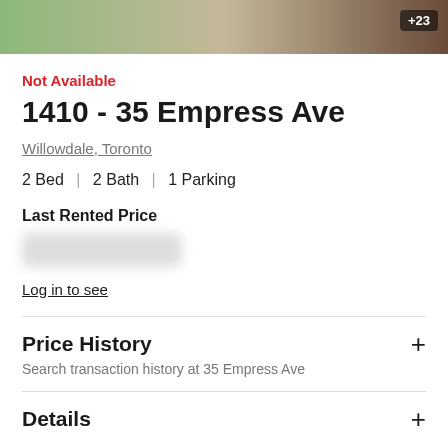[Figure (photo): Property photo banner with green and brown tones, +23 badge overlay]
Not Available
1410 - 35 Empress Ave
Willowdale, Toronto
2 Bed  |  2 Bath  |  1 Parking
Last Rented Price
[blurred price]
Log in to see
Price History
Search transaction history at 35 Empress Ave
Details